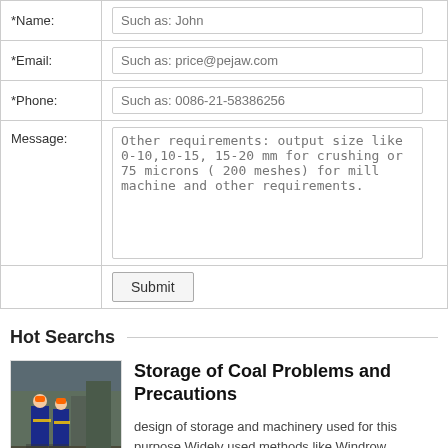| *Name: | Such as: John |
| *Email: | Such as: price@pejaw.com |
| *Phone: | Such as: 0086-21-58386256 |
| Message: | Other requirements: output size like 0-10,10-15, 15-20 mm for crushing or 75 microns ( 200 meshes) for mill machine and other requirements. |
|  | Submit |
Hot Searchs
[Figure (photo): Two workers in hard hats and safety vests at an industrial facility]
Storage of Coal Problems and Precautions
design of storage and machinery used for this purpose Widely used methods like Windrow, Chevron and Cone Shell type